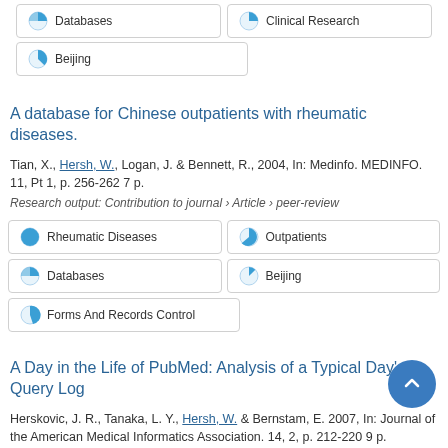Databases
Clinical Research
Beijing
A database for Chinese outpatients with rheumatic diseases.
Tian, X., Hersh, W., Logan, J. & Bennett, R., 2004, In: Medinfo. MEDINFO. 11, Pt 1, p. 256-262 7 p.
Research output: Contribution to journal › Article › peer-review
Rheumatic Diseases
Outpatients
Databases
Beijing
Forms And Records Control
A Day in the Life of PubMed: Analysis of a Typical Day's Query Log
Herskovic, J. R., Tanaka, L. Y., Hersh, W. & Bernstam, E. 2007, In: Journal of the American Medical Informatics Association. 14, 2, p. 212-220 9 p.